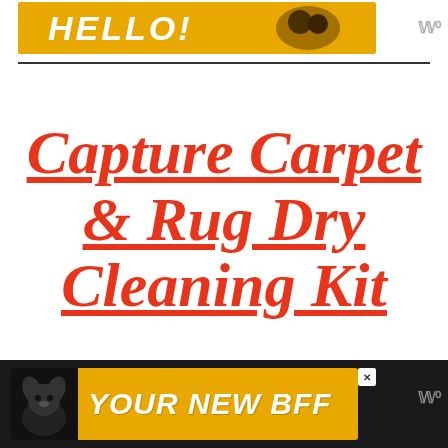[Figure (illustration): Advertisement banner at top: yellow/golden background with stylized white italic bold text and dog image, with Wired logo to the right]
Capture Carpet & Rug Dry Cleaning Kit
[Figure (illustration): Advertisement banner at bottom: dark background containing a yellow banner with a black dog silhouette on left and white italic bold text 'YOUR NEW BFF', close button, and Wired logo to the right]